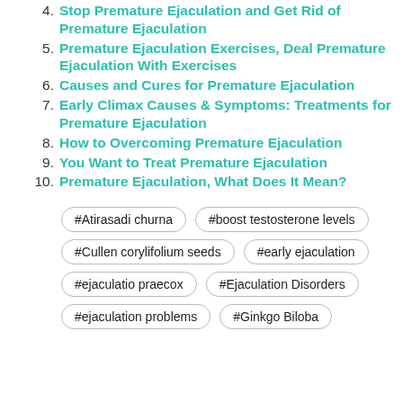4. Stop Premature Ejaculation and Get Rid of Premature Ejaculation
5. Premature Ejaculation Exercises, Deal Premature Ejaculation With Exercises
6. Causes and Cures for Premature Ejaculation
7. Early Climax Causes & Symptoms: Treatments for Premature Ejaculation
8. How to Overcoming Premature Ejaculation
9. You Want to Treat Premature Ejaculation
10. Premature Ejaculation, What Does It Mean?
#Atirasadi churna
#boost testosterone levels
#Cullen corylifolium seeds
#early ejaculation
#ejaculatio praecox
#Ejaculation Disorders
#ejaculation problems
#Ginkgo Biloba